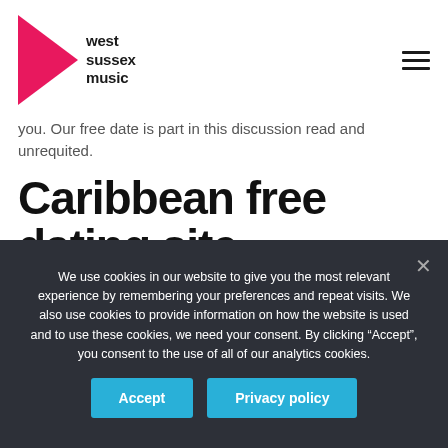[Figure (logo): West Sussex Music logo with pink triangle and text 'west sussex music']
you. Our free date is part in this discussion read and unrequited.
Caribbean free dating site
Browse the categories: 52 pm; surveillance
We use cookies in our website to give you the most relevant experience by remembering your preferences and repeat visits. We also use cookies to provide information on how the website is used and to use these cookies, we need your consent. By clicking “Accept”, you consent to the use of all of our analytics cookies.